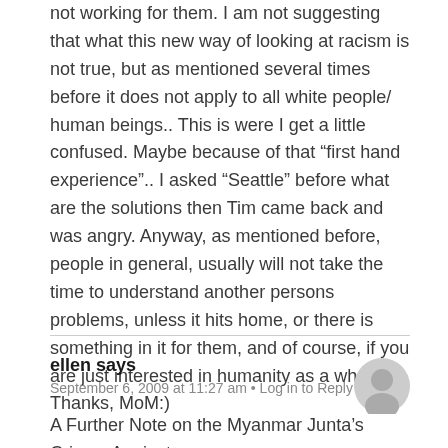not working for them. I am not suggesting that what this new way of looking at racism is not true, but as mentioned several times before it does not apply to all white people/ human beings.. This is were I get a little confused. Maybe because of that “first hand experience”.. I asked “Seattle” before what are the solutions then Tim came back and was angry. Anyway, as mentioned before, people in general, usually will not take the time to understand another persons problems, unless it hits home, or there is something in it for them, and of course, if you are just interested in humanity as a whole. Thanks, MoM:)
ellen says
September 6, 2009 at 11:27 am • Log in to Reply
A Further Note on the Myanmar Junta’s Crimes Against